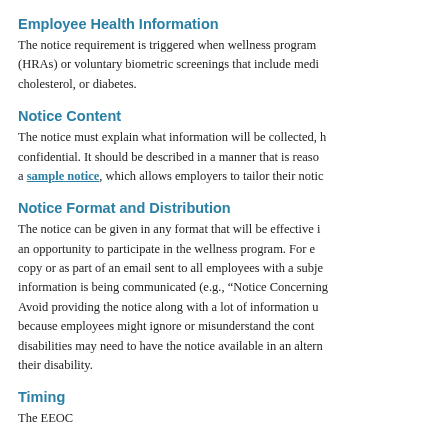Employee Health Information
The notice requirement is triggered when wellness program (HRAs) or voluntary biometric screenings that include medi cholesterol, or diabetes.
Notice Content
The notice must explain what information will be collected, h confidential. It should be described in a manner that is reaso a sample notice, which allows employers to tailor their notic
Notice Format and Distribution
The notice can be given in any format that will be effective i an opportunity to participate in the wellness program. For e copy or as part of an email sent to all employees with a subje information is being communicated (e.g., “Notice Concerning Avoid providing the notice along with a lot of information u because employees might ignore or misunderstand the cont disabilities may need to have the notice available in an altern their disability.
Timing
The EEOC has… requires that the notice… and the…